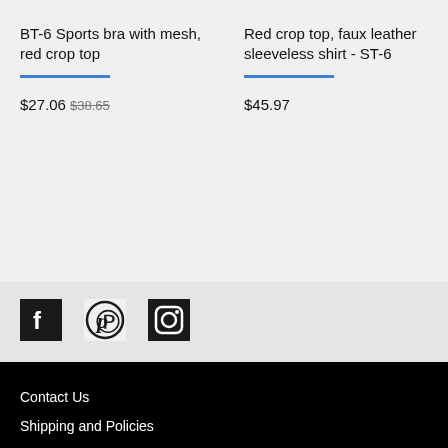BT-6 Sports bra with mesh, red crop top
$27.06 $38.65
Red crop top, faux leather sleeveless shirt - ST-6
$45.97
[Figure (infographic): Social media icons: Facebook, Pinterest, Instagram]
Contact Us
Shipping and Policies
All rights reserved © 2022 ZOLNAR.
Powered by Etsy